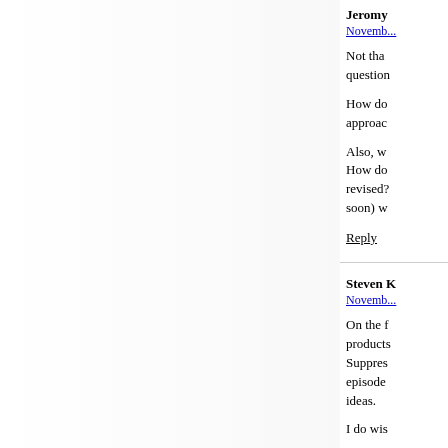Jeromy
Novemb...
Not that... question...
How do... approach...
Also, w... How do... revised?... soon) w...
Reply
Steven K...
Novemb...
On the f... products... Suppress... episode ... ideas.
I do wis...